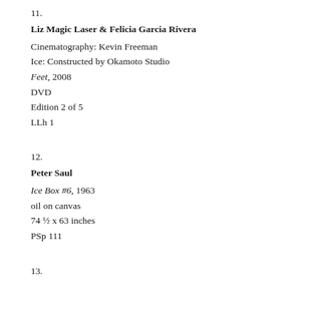11.
Liz Magic Laser & Felicia Garcia Rivera
Cinematography: Kevin Freeman
Ice: Constructed by Okamoto Studio
Feet, 2008
DVD
Edition 2 of 5
LLh 1
12.
Peter Saul
Ice Box #6, 1963
oil on canvas
74 ½ x 63 inches
PSp 111
13.